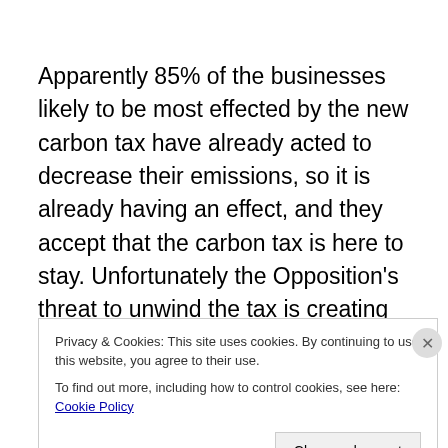Apparently 85% of the businesses likely to be most effected by the new carbon tax have already acted to decrease their emissions, so it is already having an effect, and they accept that the carbon tax is here to stay. Unfortunately the Opposition's threat to unwind the tax is creating investment uncertainty. The carbon price is $23 per tonne – which is in the middle compared to a lower price in Europe, and higher in Sweden, Norway and Switzerland. A…
Privacy & Cookies: This site uses cookies. By continuing to use this website, you agree to their use.
To find out more, including how to control cookies, see here: Cookie Policy